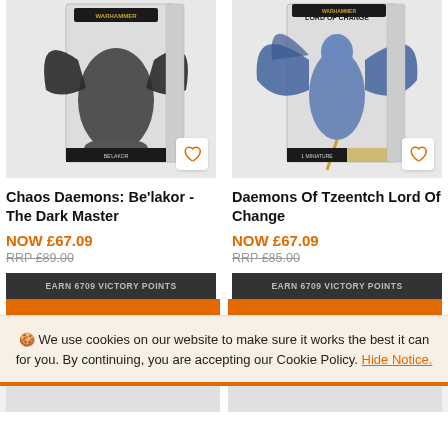[Figure (photo): Product image of Chaos Daemons: Be'lakor - The Dark Master Warhammer miniature box]
[Figure (photo): Product image of Daemons Of Tzeentch Lord Of Change Warhammer miniature box]
Chaos Daemons: Be'lakor - The Dark Master
Daemons Of Tzeentch Lord Of Change
NOW £67.09
NOW £67.09
RRP £89.00
RRP £85.00
EARN 6709 VICTORY POINTS
EARN 6709 VICTORY POINTS
🍪 We use cookies on our website to make sure it works the best it can for you. By continuing, you are accepting our Cookie Policy. Hide Notice.